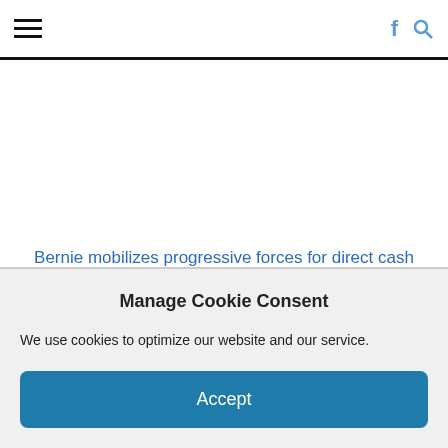☰  f 🔍
Bernie mobilizes progressive forces for direct cash stimulus
← Beyond sanitizing and social distancing – a healthy circadian rhythm
Manage Cookie Consent
We use cookies to optimize our website and our service.
Accept